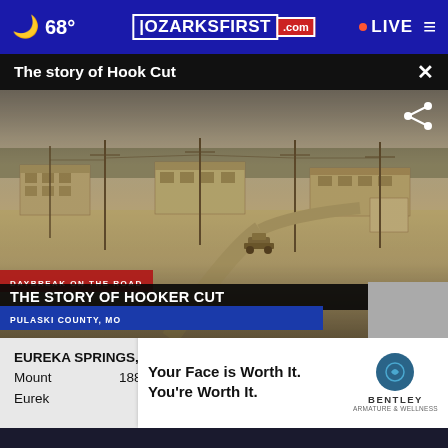68° | OZARKSFIRST.com | LIVE
The story of Hook Cut
[Figure (screenshot): Sepia-toned historical photo of military barracks buildings at what appears to be a US Army base, with dirt roads and utility poles. Lower-thirds overlay reads: DAYBREAK ON THE ROAD / THE STORY OF HOOKER CUT / PULASKI COUNTY, MO]
EUREKA SPRINGS, Ark. — Perched on the crest of We Mount...1886 d...Eurek...
[Figure (infographic): Advertisement overlay: 'Your Face is Worth It. You're Worth It.' with Bentley Armature & Wellness logo]